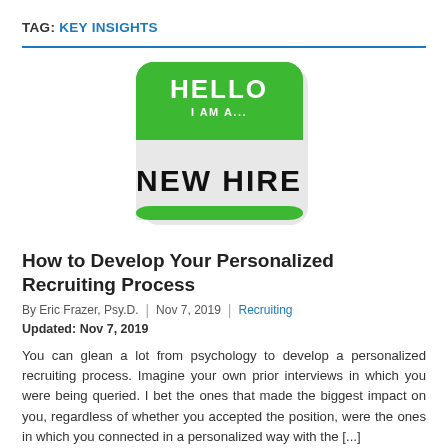TAG: KEY INSIGHTS
[Figure (illustration): A name tag sticker styled badge with green background at top reading 'HELLO I AM A...' in white bold text, and white background at bottom reading 'NEW HIRE' in large black handwritten-style font, with rounded corners and green border.]
How to Develop Your Personalized Recruiting Process
By Eric Frazer, Psy.D.  |  Nov 7, 2019  |  Recruiting
Updated: Nov 7, 2019
You can glean a lot from psychology to develop a personalized recruiting process. Imagine your own prior interviews in which you were being queried. I bet the ones that made the biggest impact on you, regardless of whether you accepted the position, were the ones in which you connected in a personalized way with the [...]